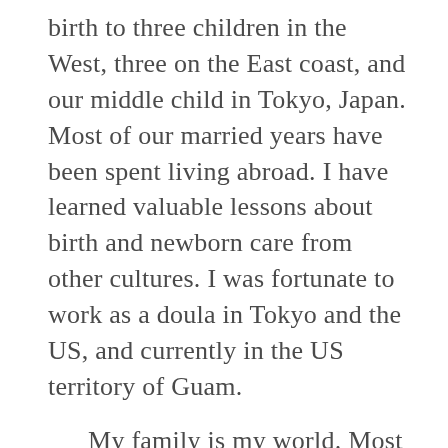birth to three children in the West, three on the East coast, and our middle child in Tokyo, Japan. Most of our married years have been spent living abroad. I have learned valuable lessons about birth and newborn care from other cultures. I was fortunate to work as a doula in Tokyo and the US, and currently in the US territory of Guam.
My family is my world. Most of my children were born naturally, with the exception of our identical twin sons, which